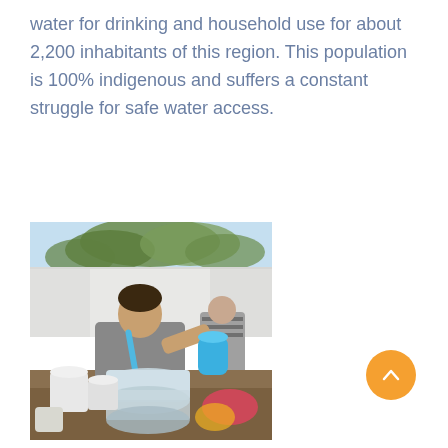water for drinking and household use for about 2,200 inhabitants of this region. This population is 100% indigenous and suffers a constant struggle for safe water access.
[Figure (photo): A person, likely a child, using a water filter or siphon device to transfer water between large plastic containers at an outdoor table under a tent canopy with trees visible in the background.]